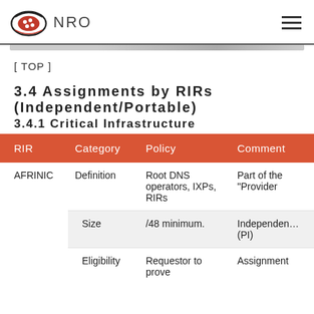NRO
[ TOP ]
3.4 Assignments by RIRs (Independent/Portable)
3.4.1 Critical Infrastructure
| RIR | Category | Policy | Comment |
| --- | --- | --- | --- |
| AFRINIC | Definition | Root DNS operators, IXPs, RIRs | Part of the "Provider Independen… (PI) |
|  | Size | /48 minimum. | Assignment |
|  | Eligibility | Requestor to prove | Assignment |